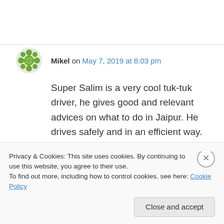Mikel on May 7, 2019 at 8:03 pm
Super Salim is a very cool tuk-tuk driver, he gives good and relevant advices on what to do in Jaipur. He drives safely and in an efficient way. He knows Jaipur like his pocket. More important : he is very friendly, welcoming, and funny. Trust him safely.
↵ Reply
Privacy & Cookies: This site uses cookies. By continuing to use this website, you agree to their use.
To find out more, including how to control cookies, see here: Cookie Policy
Close and accept